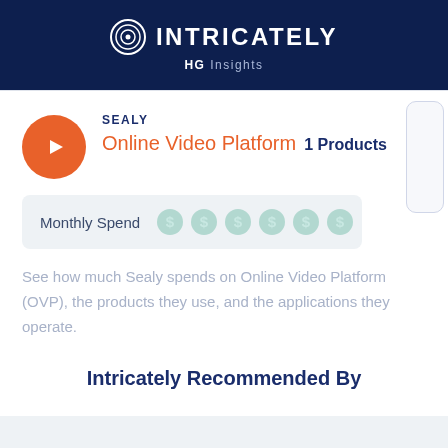INTRICATELY HG Insights
SEALY
Online Video Platform 1 Products
Monthly Spend
See how much Sealy spends on Online Video Platform (OVP), the products they use, and the applications they operate.
Intricately Recommended By